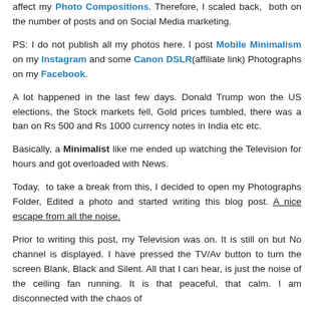affect my Photo Compositions. Therefore, I scaled back, both on the number of posts and on Social Media marketing.
PS: I do not publish all my photos here. I post Mobile Minimalism on my Instagram and some Canon DSLR(affiliate link) Photographs on my Facebook.
A lot happened in the last few days. Donald Trump won the US elections, the Stock markets fell, Gold prices tumbled, there was a ban on Rs 500 and Rs 1000 currency notes in India etc etc.
Basically, a Minimalist like me ended up watching the Television for hours and got overloaded with News.
Today, to take a break from this, I decided to open my Photographs Folder, Edited a photo and started writing this blog post. A nice escape from all the noise.
Prior to writing this post, my Television was on. It is still on but No channel is displayed. I have pressed the TV/Av button to turn the screen Blank, Black and Silent. All that I can hear, is just the noise of the ceiling fan running. It is that peaceful, that calm. I am disconnected with the chaos of